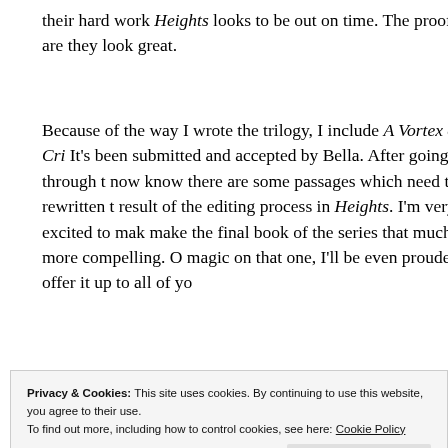their hard work Heights looks to be out on time. The proofs are they look great.
Because of the way I wrote the trilogy, I include A Vortex of Cri It's been submitted and accepted by Bella. After going through t now know there are some passages which need to be rewritten t result of the editing process in Heights. I'm very excited to mak make the final book of the series that much more compelling. O magic on that one, I'll be even prouder to offer it up to all of yo
[Figure (screenshot): Tumblr AD-FREE banner advertisement with pink circle graphic and yellow diamond shape on blue background]
Privacy & Cookies: This site uses cookies. By continuing to use this website, you agree to their use.
To find out more, including how to control cookies, see here: Cookie Policy